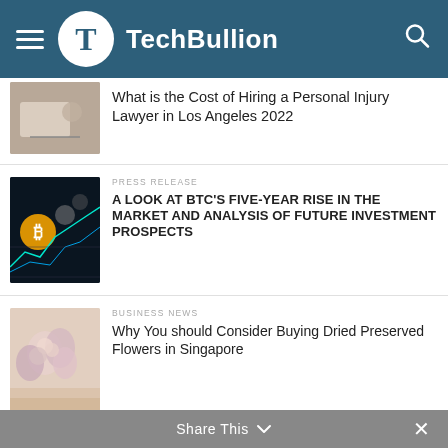TechBullion
What is the Cost of Hiring a Personal Injury Lawyer in Los Angeles 2022
PRESS RELEASE
A LOOK AT BTC'S FIVE-YEAR RISE IN THE MARKET AND ANALYSIS OF FUTURE INVESTMENT PROSPECTS
BUSINESS NEWS
Why You should Consider Buying Dried Preserved Flowers in Singapore
LIKE US ON FACEBOOK
Share This